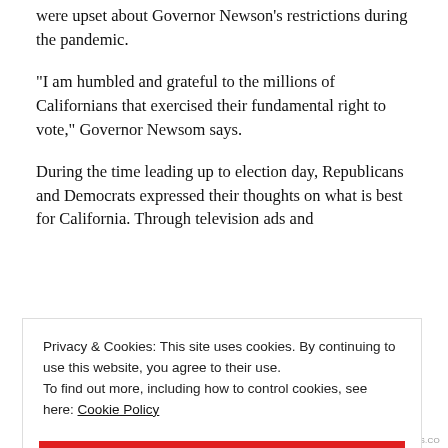were upset about Governor Newson's restrictions during the pandemic.
“I am humbled and grateful to the millions of Californians that exercised their fundamental right to vote,” Governor Newsom says.
During the time leading up to election day, Republicans and Democrats expressed their thoughts on what is best for California. Through television ads and
Privacy & Cookies: This site uses cookies. By continuing to use this website, you agree to their use.
To find out more, including how to control cookies, see here: Cookie Policy
CLOSE AND ACCEPT